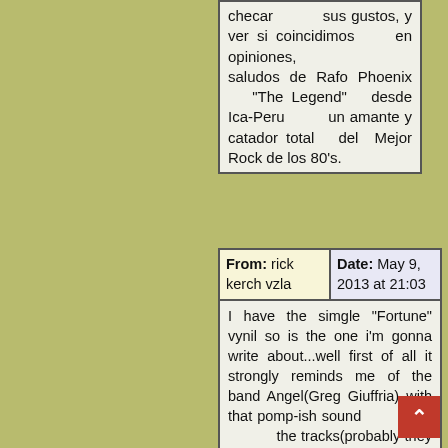checar sus gustos, y ver si coincidimos en opiniones, saludos de Rafo Phoenix "The Legend" desde Ica-Peru un amante y catador total del Mejor Rock de los 80's.
| From: rick kerch vzla | Date: May 9, 2013 at 21:03 |
| --- | --- |
| I have the simgle "Fortune" vynil so is the one i'm gonna write about...well first of all it strongly reminds me of the band Angel(Greg Giuffria) with that pomp-ish sound in the tracks(probably they were influenced by them)and |